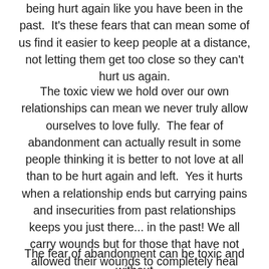being hurt again like you have been in the past.  It's these fears that can mean some of us find it easier to keep people at a distance, not letting them get too close so they can't hurt us again.
The toxic view we hold over our own relationships can mean we never truly allow ourselves to love fully.  The fear of abandonment can actually result in some people thinking it is better to not love at all than to be hurt again and left.  Yes it hurts when a relationship ends but carrying pains and insecurities from past relationships keeps you just there... in the past! We all carry wounds but for those that have not allowed their wounds to completely heal from previous relationships, you are only prolonging the pain and stopping yourself moving forward in finding a lasting and healthy relationship.
The fear of abandonment can be toxic and without